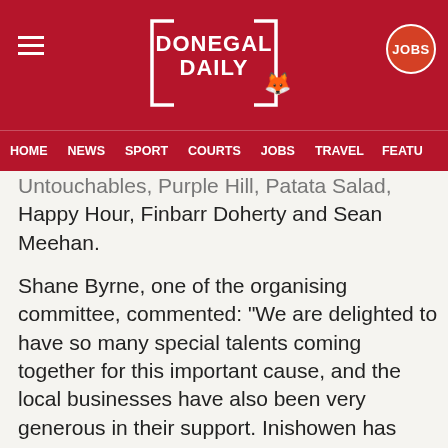DONEGAL DAILY
HOME  NEWS  SPORT  COURTS  JOBS  TRAVEL  FEATU
Untouchables, Purple Hill, Patata Salad, Happy Hour, Finbarr Doherty and Sean Meehan.
Shane Byrne, one of the organising committee, commented:  “We are delighted to have so many special talents coming together for this important cause, and the local businesses have also been very generous in their support.  Inishowen has given a huge welcome to our Ukrainian brothers and sisters, and this event will give the community an opportunity to build upon that. It will be a magical night.”